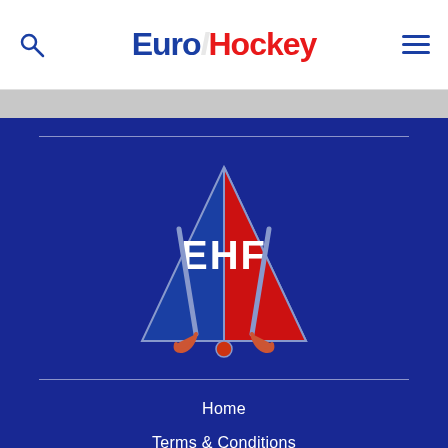[Figure (logo): EuroHockey website header with search icon, EuroHockey text logo in blue and red, and hamburger menu icon]
[Figure (logo): European Hockey Federation (EHF) logo - triangular shield split blue and red with EHF letters and hockey sticks]
Home
Terms & Conditions
Privacy Policy
Cookie Policy